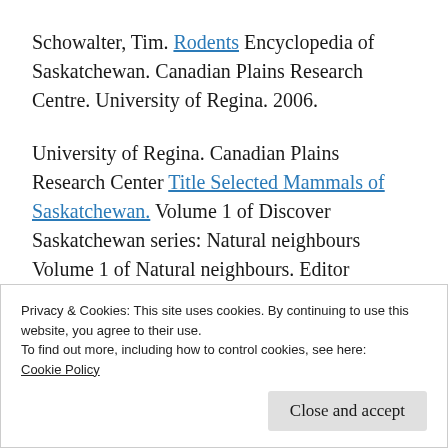Schowalter, Tim. Rodents Encyclopedia of Saskatchewan. Canadian Plains Research Centre. University of Regina. 2006.
University of Regina. Canadian Plains Research Center Title Selected Mammals of Saskatchewan. Volume 1 of Discover Saskatchewan series: Natural neighbours Volume 1 of Natural neighbours. Editor Saskatchewan Environment and Resource
Privacy & Cookies: This site uses cookies. By continuing to use this website, you agree to their use.
To find out more, including how to control cookies, see here: Cookie Policy